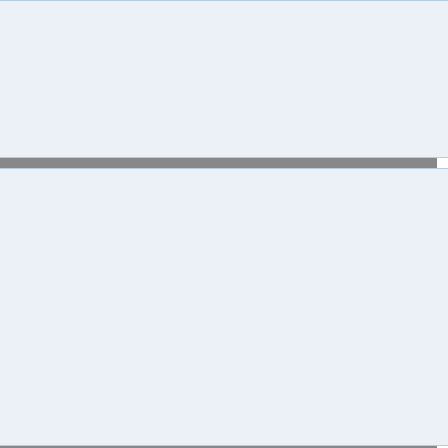[Figure (other): Gray panel on left side of page, approximately 437px wide]
ngaaeF deeM raoM jaL maakF maaiM kh... "If you look at only the bad side... the world to be with; if you look a... will increase the number of peop...
[Thai text block] bpraL thaehtF thaiM laeH bpraL thaehtF p... thaH mitH theeF deeM dtaawL ganM "Thailand and its neighbors are ...
[Thai text block] dooyM naiM moomM bpatL jaehkL bookL so:htL khuaanM dtawngF waangM phaae... dtangF dtaaeL waiM saamR sipL bplaaiM... "From the standpoint of the indiv... remaining single need to plan w... thirties so that [this planning] wi...
[Thai text block] n- [Thai text] naaiM deeM naH theeF raoM lenF thang... "Mr. B.: So, it's a good thing th...